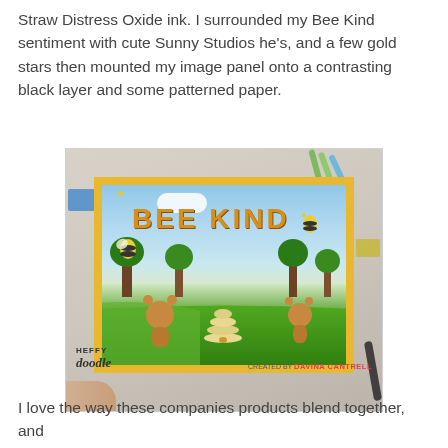Straw Distress Oxide ink. I surrounded my Bee Kind sentiment with cute Sunny Studios he's, and a few gold stars then mounted my image panel onto a contrasting black layer and some patterned paper.
[Figure (photo): A handmade greeting card with 'BEE KIND' text, featuring illustrated bees and bears in a nature scene with a beehive, surrounded by a yellow glitter border. The card is held in hand against a crafting supplies background. Logo reads 'Heffy Doodle' and 'CREATED BY DAVINA CANTRELL'.]
I love the way these companies products blend together, and